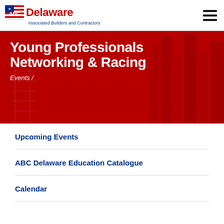[Figure (logo): ABC Delaware - Associated Builders and Contractors logo with American flag motif]
Young Professionals Networking & Racing
Events /
Upcoming Events
ABC Delaware Education Catalogue
Calendar